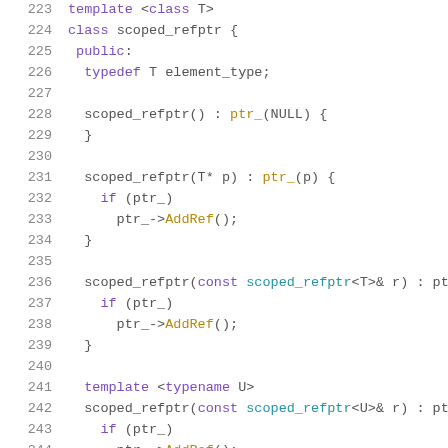[Figure (screenshot): Source code listing showing C++ template class scoped_refptr with constructors and member functions, lines 223-244, syntax highlighted with line numbers.]